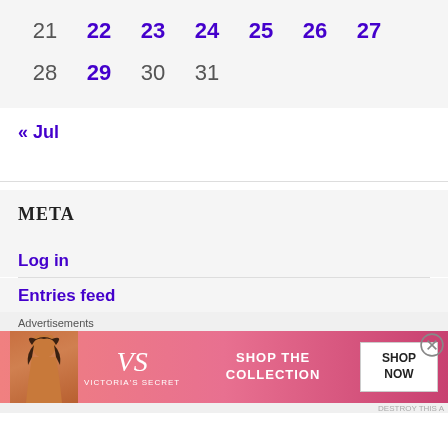| 21 | 22 | 23 | 24 | 25 | 26 | 27 |
| 28 | 29 | 30 | 31 |  |  |  |
« Jul
META
Log in
Entries feed
[Figure (photo): Victoria's Secret advertisement banner showing a model and text SHOP THE COLLECTION with a SHOP NOW button]
Advertisements